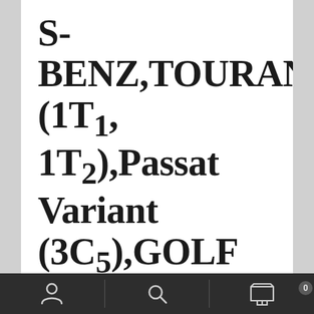S-BENZ,TOURAN (1T1, 1T2),Passat Variant (3C5),GOLF VI (5K1),TIGUAN (5N_)
£29.48
[Figure (logo): 21buy carparts.co.uk logo with tagline 'Quality, competence and good price']